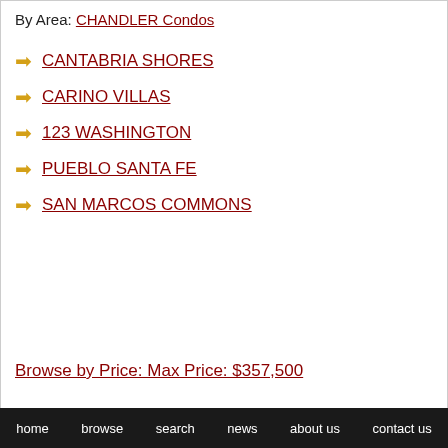By Area: CHANDLER Condos
CANTABRIA SHORES
CARINO VILLAS
123 WASHINGTON
PUEBLO SANTA FE
SAN MARCOS COMMONS
Browse by Price: Max Price: $357,500
The Fair Housing Act prohibits discrimination in housing based on color, race, religion, national origin, sex, familial status, or disability.
ARMLS Logo indicates a property listed by a real estate brokerage other than Contigo Realty. All information should be verified by the recipient and none is guaranteed as
home   browse   search   news   about us   contact us